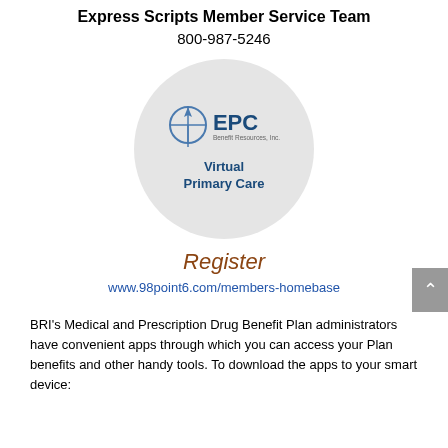Express Scripts Member Service Team
800-987-5246
[Figure (logo): EPC Benefit Resources, Inc. circular logo with compass icon and 'Virtual Primary Care' text]
Register
www.98point6.com/members-homebase
BRI's Medical and Prescription Drug Benefit Plan administrators have convenient apps through which you can access your Plan benefits and other handy tools. To download the apps to your smart device: